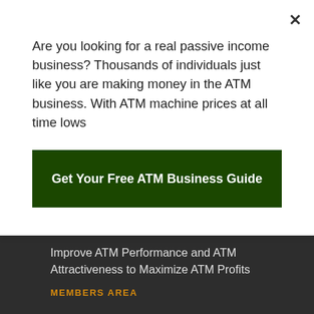Are you looking for a real passive income business? Thousands of individuals just like you are making money in the ATM business. With ATM machine prices at all time lows
Get Your Free ATM Business Guide
Improve ATM Performance and ATM Attractiveness to Maximize ATM Profits
MEMBERS AREA
Members Login
Become a Member
Members Area T&Cs
Real-Time Monitoring Login
COMPANY